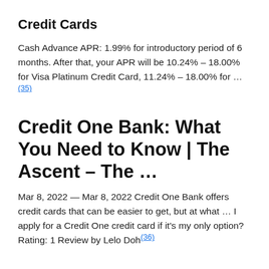Credit Cards
Cash Advance APR: 1.99% for introductory period of 6 months. After that, your APR will be 10.24% – 18.00% for Visa Platinum Credit Card, 11.24% – 18.00% for …(35)
Credit One Bank: What You Need to Know | The Ascent – The …
Mar 8, 2022 — Mar 8, 2022 Credit One Bank offers credit cards that can be easier to get, but at what … I apply for a Credit One credit card if it's my only option? Rating: 1 Review by Lelo Doh(36)